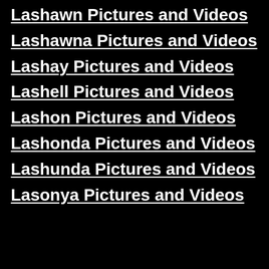Lashawn Pictures and Videos
Lashawna Pictures and Videos
Lashay Pictures and Videos
Lashell Pictures and Videos
Lashon Pictures and Videos
Lashonda Pictures and Videos
Lashunda Pictures and Videos
Lasonya Pictures and Videos